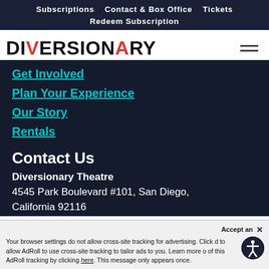Subscriptions   Contact & Box Office   Tickets
Redeem Subscription
[Figure (logo): Diversionary Theatre logo — DIVERSIONARY in bold black text with red V and red A letters]
Get Involved
Plan Your Experience
Our Story
Rentals
Contact Us
Diversionary Theatre
4545 Park Boulevard #101, San Diego, California 92116
Your browser settings do not allow cross-site tracking for advertising. Click done to allow AdRoll to use cross-site tracking to tailor ads to you. Learn more or opt out of this AdRoll tracking by clicking here. This message only appears once.